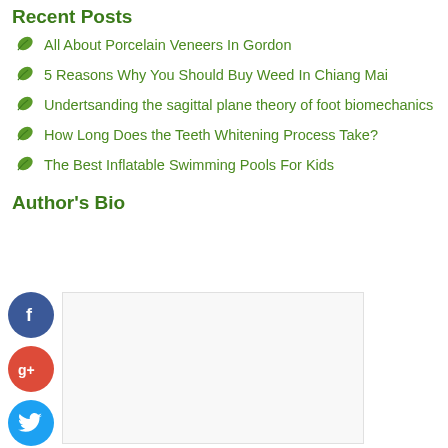Recent Posts
All About Porcelain Veneers In Gordon
5 Reasons Why You Should Buy Weed In Chiang Mai
Undertsanding the sagittal plane theory of foot biomechanics
How Long Does the Teeth Whitening Process Take?
The Best Inflatable Swimming Pools For Kids
Author's Bio
[Figure (infographic): Social sharing buttons: Facebook (blue circle with f), Google+ (red circle with g+), Twitter (blue circle with bird), Add/plus (dark blue circle with +), alongside a content placeholder box]